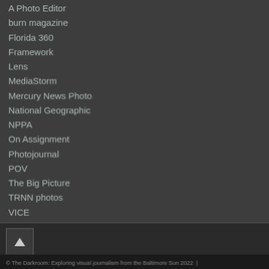A Photo Editor
burn magazine
Florida 360
Framework
Lens
MediaStorm
Mercury News Photo
National Geographic
NPPA
On Assignment
Photojournal
POV
The Big Picture
TRNN photos
VICE
VII
Washington Post
© The Darkroom: Exploring visual journalism from the Baltimore Sun 2022  |